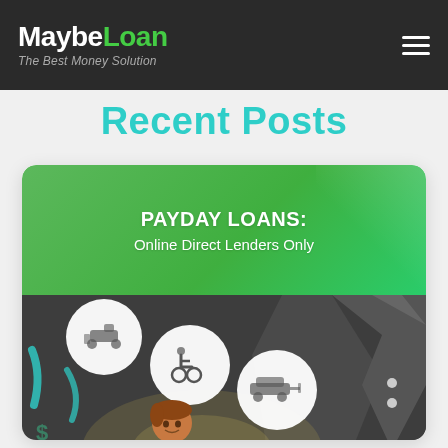MaybeLoan — The Best Money Solution
Recent Posts
[Figure (infographic): Infographic card for 'PAYDAY LOANS: Online Direct Lenders Only'. Green header band with title text, below a dark grey illustrated scene with circular icons (person on mobility scooter, person in wheelchair, car with tow hook) and a person at a computer with a spotlight effect and scattered dollar signs.]